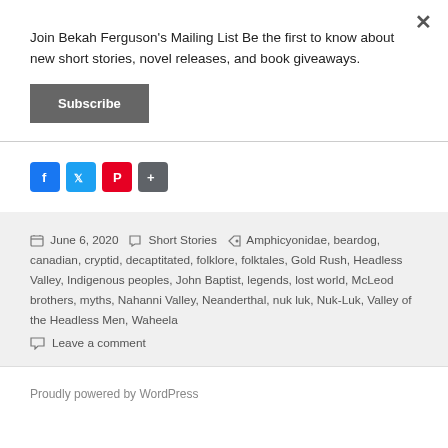Join Bekah Ferguson's Mailing List Be the first to know about new short stories, novel releases, and book giveaways.
Subscribe
[Figure (infographic): Social share buttons: Facebook, Twitter, Pinterest, Share]
June 6, 2020  Short Stories  Amphicyonidae, beardog, canadian, cryptid, decaptitated, folklore, folktales, Gold Rush, Headless Valley, Indigenous peoples, John Baptist, legends, lost world, McLeod brothers, myths, Nahanni Valley, Neanderthal, nuk luk, Nuk-Luk, Valley of the Headless Men, Waheela
Leave a comment
Proudly powered by WordPress